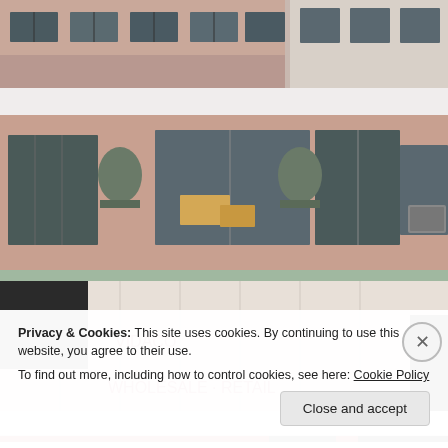[Figure (photo): Top portion of urban building facades with windows, pink/salmon colored buildings in the background]
[Figure (photo): Storefront of VIDACO WHOLESALE - RETAIL, a pink salmon-colored building with large windows and ornate architectural details, featuring a large sign reading VIDACO WHOLESALE - RETAIL in pink letters]
Privacy & Cookies: This site uses cookies. By continuing to use this website, you agree to their use.
To find out more, including how to control cookies, see here: Cookie Policy
Close and accept